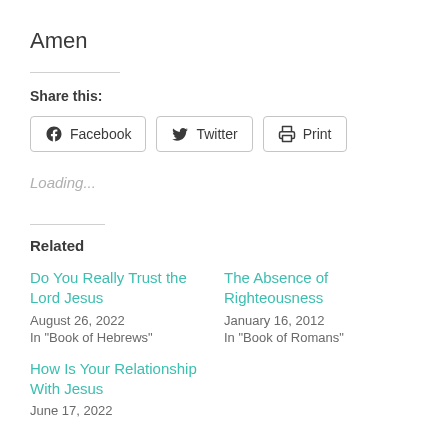Amen
Share this:
Facebook  Twitter  Print
Loading...
Related
Do You Really Trust the Lord Jesus
August 26, 2022
In "Book of Hebrews"
The Absence of Righteousness
January 16, 2012
In "Book of Romans"
How Is Your Relationship With Jesus
June 17, 2022